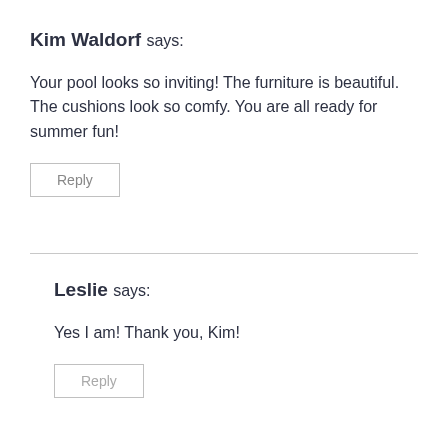Kim Waldorf says:
Your pool looks so inviting! The furniture is beautiful. The cushions look so comfy. You are all ready for summer fun!
Reply
Leslie says:
Yes I am! Thank you, Kim!
Reply